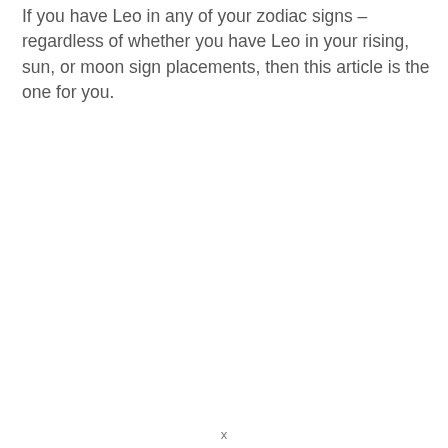If you have Leo in any of your zodiac signs – regardless of whether you have Leo in your rising, sun, or moon sign placements, then this article is the one for you.
x